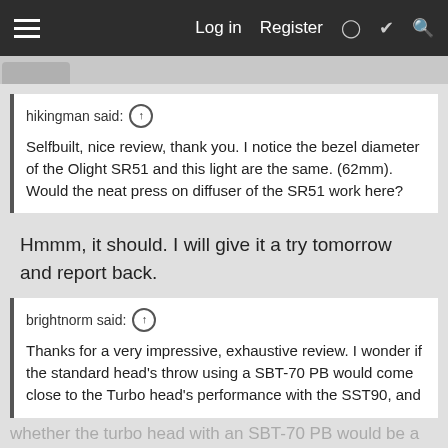Log in  Register
hikingman said: ↑

Selfbuilt, nice review, thank you. I notice the bezel diameter of the Olight SR51 and this light are the same. (62mm). Would the neat press on diffuser of the SR51 work here?
Hmmm, it should. I will give it a try tomorrow and report back.
brightnorm said: ↑

Thanks for a very impressive, exhaustive review. I wonder if the standard head's throw using a SBT-70 PB would come close to the Turbo head's performance with the SST90, and whether the turbo head with an SBT-70 PB would be a true super-thrower.